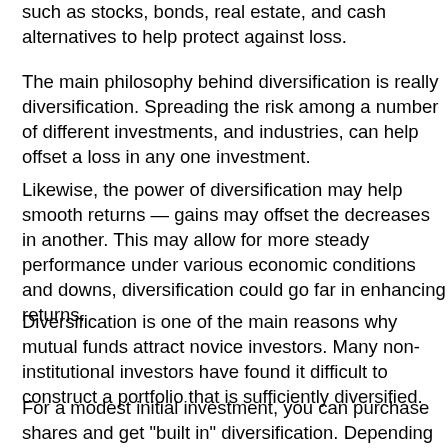such as stocks, bonds, real estate, and cash alterna... protect against loss.
The main philosophy behind diversification is really d... Spreading the risk among a number of different inve... industries, can help offset a loss in any one investme...
Likewise, the power of diversification may help smoo... may offset the decreases in another. This may allow... more steady performance under various economic c... and downs, diversification could go far in enhancing...
Diversification is one of the main reasons why mutua... novice investors. Many non-institutional investors ha... to construct a portfolio that is sufficiently diversified.
For a modest initial investment, you can purchase sh... in" diversification. Depending on the objectives of the... vehicles, or a combination of them.